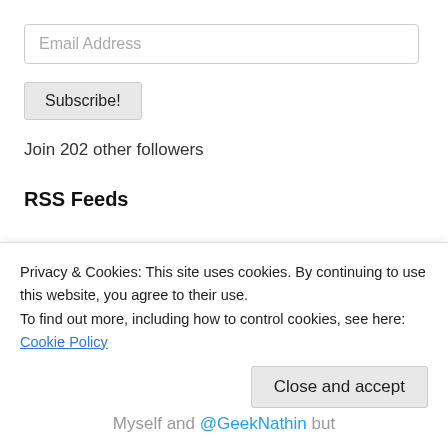Email Address
Subscribe!
Join 202 other followers
RSS Feeds
FOLLOW US ON TWITTER
Privacy & Cookies: This site uses cookies. By continuing to use this website, you agree to their use.
To find out more, including how to control cookies, see here: Cookie Policy
Close and accept
Myself and @GeekNathin but